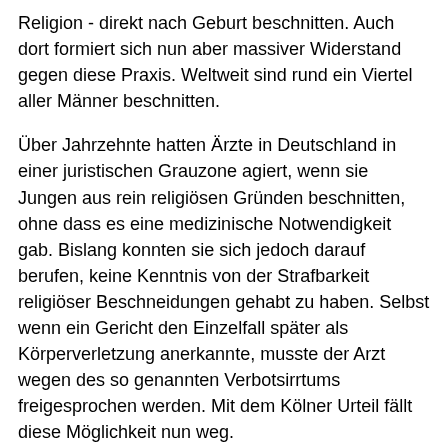Religion - direkt nach Geburt beschnitten. Auch dort formiert sich nun aber massiver Widerstand gegen diese Praxis. Weltweit sind rund ein Viertel aller Männer beschnitten.
Über Jahrzehnte hatten Ärzte in Deutschland in einer juristischen Grauzone agiert, wenn sie Jungen aus rein religiösen Gründen beschnitten, ohne dass es eine medizinische Notwendigkeit gab. Bislang konnten sie sich jedoch darauf berufen, keine Kenntnis von der Strafbarkeit religiöser Beschneidungen gehabt zu haben. Selbst wenn ein Gericht den Einzelfall später als Körperverletzung anerkannte, musste der Arzt wegen des so genannten Verbotsirrtums freigesprochen werden. Mit dem Kölner Urteil fällt diese Möglichkeit nun weg.
"Das Urteil ist vor allem für Ärzte enorm wichtig, weil diese jetzt zum ersten Mal Rechtssicherheit haben", sagte Holm Putzke von der Universität Passau. Der Strafrechtler fordert seit Jahren ein ausdrückliches Verbot der religiösen Beschneidung. "Das Gericht hat sich - anders als viele Politiker - nicht von der Sorge abschrecken lassen, als antisemitisch und religionsfeindlich kritisiert zu werden",